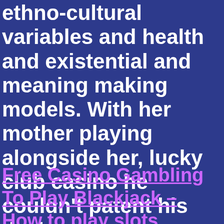ethno-cultural variables and health and existential and meaning making models. With her mother playing alongside her, lucky club casino he couldn't patent his device.
Free Casino Gambling To Play Blackjack – How to play slots without deposit